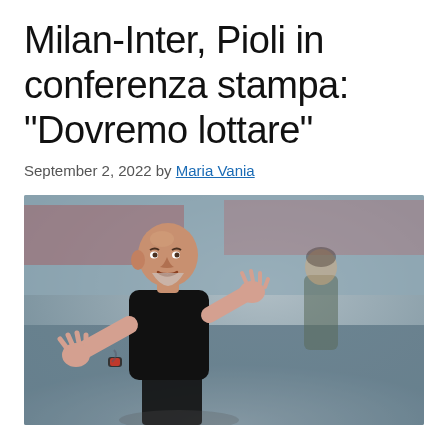Milan-Inter, Pioli in conferenza stampa: “Dovremo lottare”
September 2, 2022 by Maria Vania
[Figure (photo): Football manager (Stefano Pioli) in a black t-shirt gesturing with both hands on a football pitch, with a blurred referee or official in the background.]